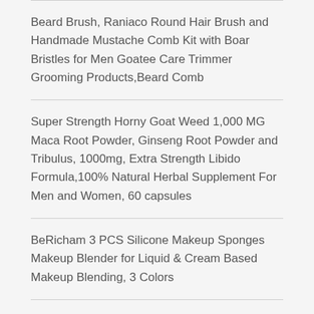Beard Brush, Raniaco Round Hair Brush and Handmade Mustache Comb Kit with Boar Bristles for Men Goatee Care Trimmer Grooming Products,Beard Comb
Super Strength Horny Goat Weed 1,000 MG Maca Root Powder, Ginseng Root Powder and Tribulus, 1000mg, Extra Strength Libido Formula,100% Natural Herbal Supplement For Men and Women, 60 capsules
BeRicham 3 PCS Silicone Makeup Sponges Makeup Blender for Liquid & Cream Based Makeup Blending, 3 Colors